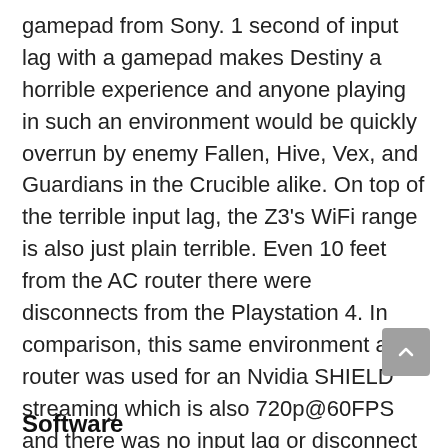gamepad from Sony. 1 second of input lag with a gamepad makes Destiny a horrible experience and anyone playing in such an environment would be quickly overrun by enemy Fallen, Hive, Vex, and Guardians in the Crucible alike. On top of the terrible input lag, the Z3's WiFi range is also just plain terrible. Even 10 feet from the AC router there were disconnects from the Playstation 4. In comparison, this same environment and router was used for an Nvidia SHIELD streaming which is also 720p@60FPS and there was no input lag or disconnect issues. Sony needs to step up their game when it comes to Remote Play and its unacceptable to advertise it as the Xperia Z3's saving grace.
Software